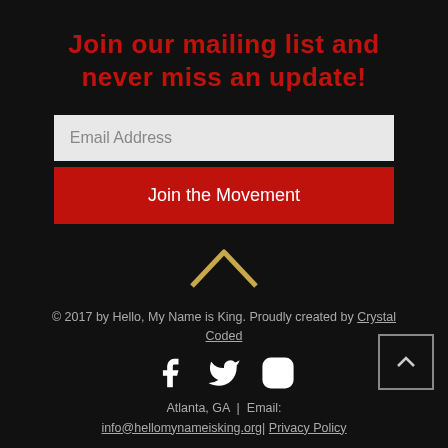Join our mailing list and never miss an update!
Email Address
Join the Movement
[Figure (illustration): Gold upward chevron/caret icon]
© 2017 by Hello, My Name is King. Proudly created by Crystal Coded
[Figure (illustration): Social media icons: Facebook, Twitter, Instagram]
Atlanta, GA  |  Email: info@hellomynameisking.org| Privacy Policy